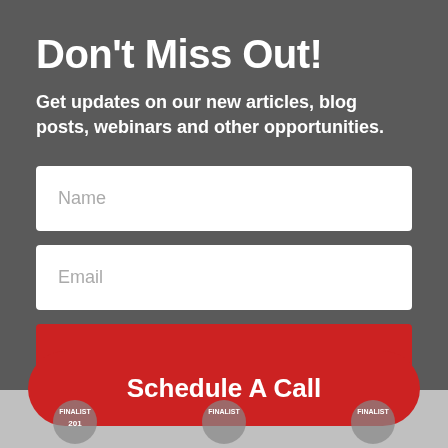Don't Miss Out!
Get updates on our new articles, blog posts, webinars and other opportunities.
[Figure (other): Name input field (white rounded rectangle with placeholder text 'Name')]
[Figure (other): Email input field (white rounded rectangle with placeholder text 'Email')]
[Figure (other): Red Subscribe button with white bold text 'Subscribe']
[Figure (other): Red pill-shaped Schedule A Call button with white bold text 'Schedule A Call']
[Figure (other): Three partially visible circular badge/medal icons at the bottom of the page labeled FINALIST]